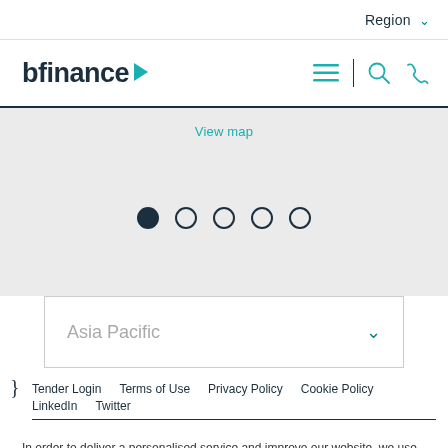Region ▾
[Figure (logo): bfinance logo with teal play-button triangle]
View map
[Figure (infographic): Carousel pagination dots: 1 filled, 4 empty]
Asia Pacific ▾
}
Tender Login   Terms of Use   Privacy Policy   Cookie Policy   LinkedIn   Twitter
In order to deliver a personalised service and improve our website, we use cookies to remember and store information about how you use it.   |   Accept & Close   |   Find out more